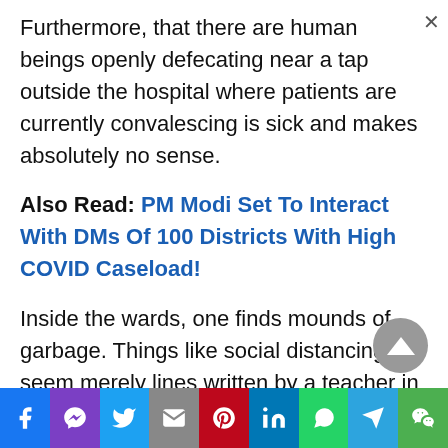Furthermore, that there are human beings openly defecating near a tap outside the hospital where patients are currently convalescing is sick and makes absolutely no sense.
Also Read: PM Modi Set To Interact With DMs Of 100 Districts With High COVID Caseload!
Inside the wards, one finds mounds of garbage. Things like social distancing seem merely lines written by a teacher in a student guide book in
Facebook | Messenger | Twitter | Gmail | Pinterest | LinkedIn | WhatsApp | Telegram | WeChat